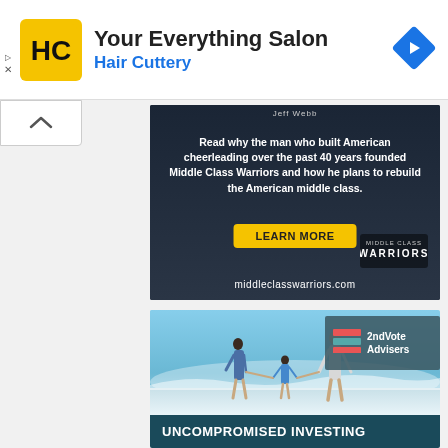[Figure (screenshot): Hair Cuttery advertisement banner with yellow HC logo, text 'Your Everything Salon' and 'Hair Cuttery' in blue, navigation diamond icon on right]
[Figure (screenshot): Middle Class Warriors advertisement: dark background with Jeff Webb book, text about building American cheerleading, LEARN MORE yellow button, middleclasswarriors.com URL]
[Figure (screenshot): 2ndVote Advisers advertisement: beach family photo with 2ndVote Advisers logo box, bottom banner reads UNCOMPROMISED INVESTING]